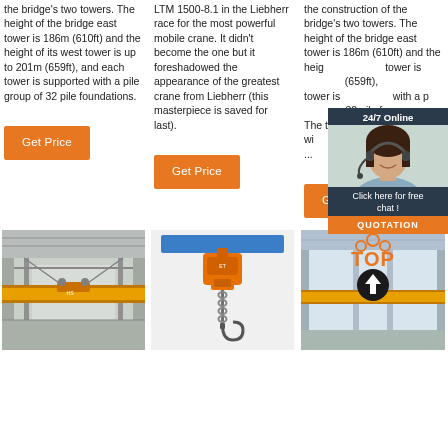the bridge's two towers. The height of the bridge east tower is 186m (610ft) and the height of its west tower is up to 201m (659ft), and each tower is supported with a pile group of 32 pile foundations.
LTM 1500-8.1 in the Liebherr race for the most powerful mobile crane. It didn't become the one but it foreshadowed the appearance of the greatest crane from Liebherr (this masterpiece is saved for last).
the construction of the bridge's two towers. The height of the bridge east tower is 186m (610ft) and the height of its west tower is up to 201m (659ft), and each tower is supported with a pile group of 32 pile foundations. The tow... must wi... ...
[Figure (other): 24/7 Online chat widget with photo of woman wearing headset, 'Click here for free chat!' text, and orange QUOTATION button]
[Figure (photo): Interior of industrial building showing overhead crane with yellow beam]
[Figure (photo): Electric chain hoist with blue top bar and orange body, hanging chain and hook]
[Figure (photo): Warehouse interior with overhead crane and TOP logo overlay with orange arrow circle]